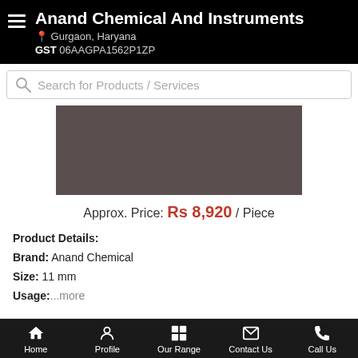Anand Chemical And Instruments
Gurgaon, Haryana
GST 06AAGPA1562P1ZP
Search for Products / Services
[Figure (photo): Product image area - dark brownish-gray rectangle representing a product photo]
Approx. Price: Rs 8,920 / Piece
Product Details:
Brand: Anand Chemical
Size: 11 mm
Usage: ...more
Call Us
Get Details
Home  Profile  Our Range  Contact Us  Call Us